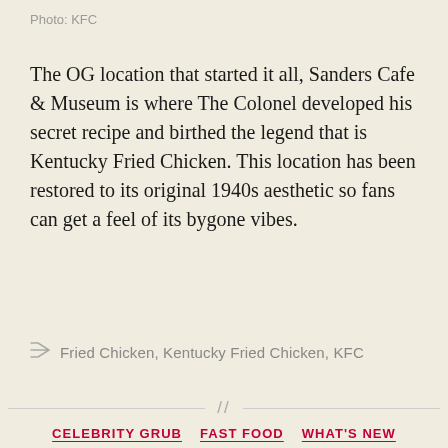Photo: KFC
The OG location that started it all, Sanders Cafe & Museum is where The Colonel developed his secret recipe and birthed the legend that is Kentucky Fried Chicken. This location has been restored to its original 1940s aesthetic so fans can get a feel of its bygone vibes.
Fried Chicken, Kentucky Fried Chicken, KFC
CELEBRITY GRUB  FAST FOOD  WHAT'S NEW
Jack Harlow Breaks Down Details of His KFC Collaboration